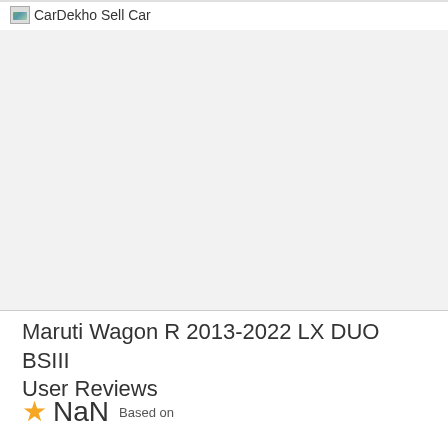CarDekho Sell Car
[Figure (other): Large gray placeholder/advertisement block]
Maruti Wagon R 2013-2022 LX DUO BSIII User Reviews
★ NaN  Based on